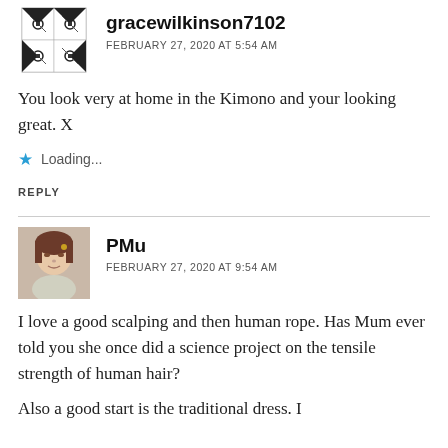[Figure (illustration): Avatar image for gracewilkinson7102 — decorative patterned tile icon in black and white]
gracewilkinson7102
FEBRUARY 27, 2020 AT 5:54 AM
You look very at home in the Kimono and your looking great. X
Loading...
REPLY
[Figure (photo): Profile photo of PMu — young woman with bangs and hair accessory]
PMu
FEBRUARY 27, 2020 AT 9:54 AM
I love a good scalping and then human rope. Has Mum ever told you she once did a science project on the tensile strength of human hair?
Also a good start is the traditional dress. I